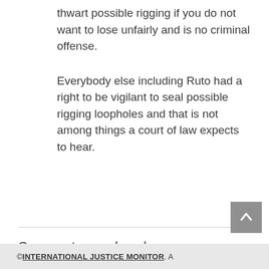thwart possible rigging if you do not want to lose unfairly and is no criminal offense.
Everybody else including Ruto had a right to be vigilant to seal possible rigging loopholes and that is not among things a court of law expects to hear.
Comments are closed.
© INTERNATIONAL JUSTICE MONITOR. A